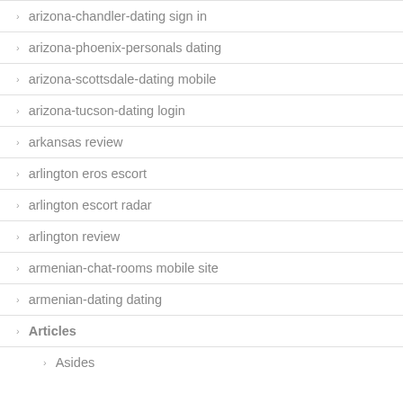arizona-chandler-dating sign in
arizona-phoenix-personals dating
arizona-scottsdale-dating mobile
arizona-tucson-dating login
arkansas review
arlington eros escort
arlington escort radar
arlington review
armenian-chat-rooms mobile site
armenian-dating dating
Articles
Asides